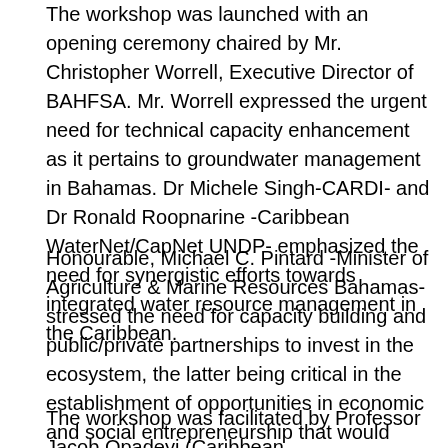The workshop was launched with an opening ceremony chaired by Mr. Christopher Worrell, Executive Director of BAHFSA. Mr. Worrell expressed the urgent need for technical capacity enhancement as it pertains to groundwater management in Bahamas. Dr Michele Singh-CARDI- and Dr Ronald Roopnarine -Caribbean WaterNet/CapNet UNDP- emphasized the need for synergistic efforts towards integrated water resource management in the Caribbean.
Honourable, Michael C. Pintard -Minister of Agriculture & Marine Resources Bahamas- stressed the need for capacity building and public/private partnerships to invest in the ecosystem, the latter being critical in the establishment of opportunities in economic and social entrepreneurship that would bring attention to the threat that exists with very limited water resources.
The workshop was facilitated by Professor Jacob Opadeyi (Caribbean WaterNet/CapNet UNDP), Dr Ronald Roopnarine